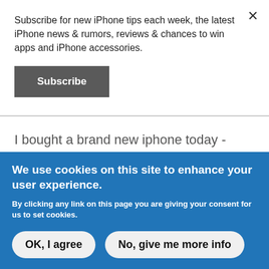Subscribe for new iPhone tips each week, the latest iPhone news & rumors, reviews & chances to win apps and iPhone accessories.
Subscribe
I bought a brand new iphone today - havent even had it for 6 hours yet...this trick did not work. HELP! I've tried reseting the phone and plugging in and unplugging the headpones - still
We use cookies on this site to enhance your user experience.
By clicking any link on this page you are giving your consent for us to set cookies.
OK, I agree
No, give me more info